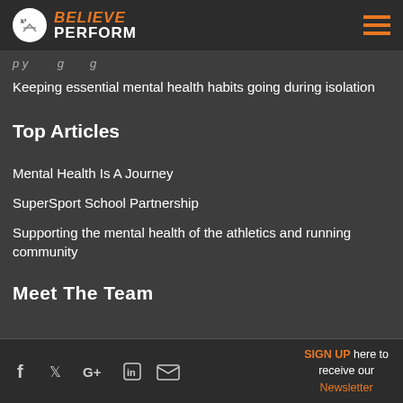[Figure (logo): BelievePerform logo with circular icon and hamburger menu icon in dark header bar]
…psychology and going…
Keeping essential mental health habits going during isolation
Top Articles
Mental Health Is A Journey
SuperSport School Partnership
Supporting the mental health of the athletics and running community
Meet The Team
SIGN UP here to receive our Newsletter